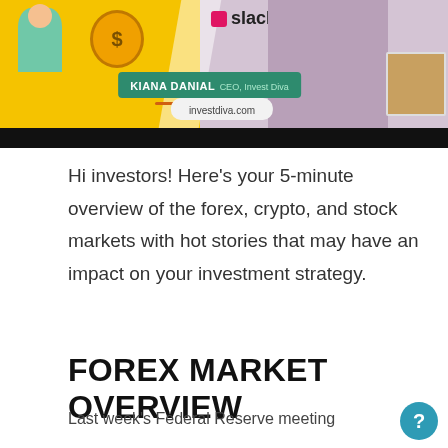[Figure (photo): Screenshot of a video thumbnail featuring Kiana Danial, CEO of Invest Diva. Yellow background with cartoon characters on the left, woman in the center-right, Slack logo visible, name badge reading 'KIANA DANIAL CEO, Invest Diva' and website 'investdiva.com'. Black bar at bottom.]
Hi investors! Here’s your 5-minute overview of the forex, crypto, and stock markets with hot stories that may have an impact on your investment strategy.
FOREX MARKET OVERVIEW
Last week’s Federal Reserve meeting